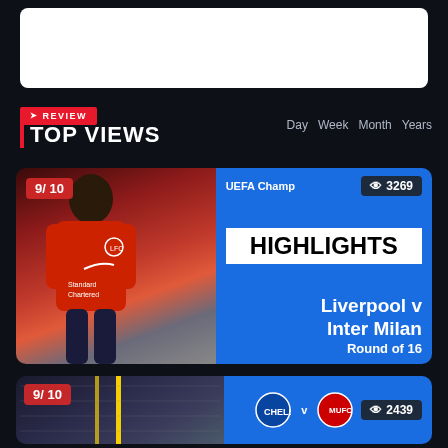[Figure (screenshot): White advertisement or search bar box at top]
REVIEW
TOP VIEWS
Day  Week  Month  Years
[Figure (screenshot): Video thumbnail card: Liverpool v Inter Milan UEFA Champions League Highlights. Rating 9/10. Views 3269. Round of 16.]
[Figure (screenshot): Video thumbnail card: Chelsea v Manchester United. Rating 9/10. Views 2439.]